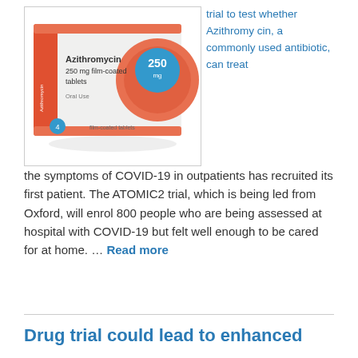[Figure (photo): Box of Azithromycin 250 mg film-coated tablets with orange circular branding element, Oral Use label]
trial to test whether Azithromycin, a commonly used antibiotic, can treat
the symptoms of COVID-19 in outpatients has recruited its first patient. The ATOMIC2 trial, which is being led from Oxford, will enrol 800 people who are being assessed at hospital with COVID-19 but felt well enough to be cared for at home. … Read more
Drug trial could lead to enhanced